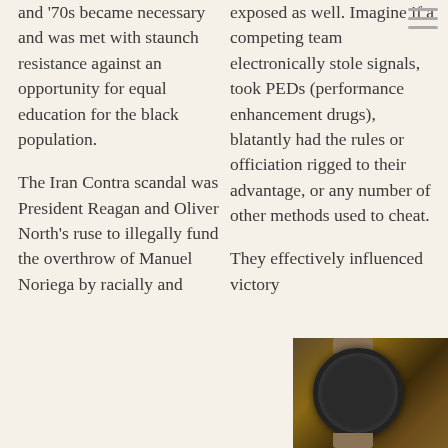and '70s became necessary and was met with staunch resistance against an opportunity for equal education for the black population.
The Iran Contra scandal was President Reagan and Oliver North's ruse to illegally fund the overthrow of Manuel Noriega by racially and
exposed as well. Imagine if a competing team electronically stole signals, took PEDs (performance enhancement drugs), blatantly had the rules or officiation rigged to their advantage, or any number of other methods used to cheat.
They effectively influenced victory
[Figure (photo): A vintage military-style wristwatch with dark dial on a tan/khaki NATO strap, placed on a wooden surface.]